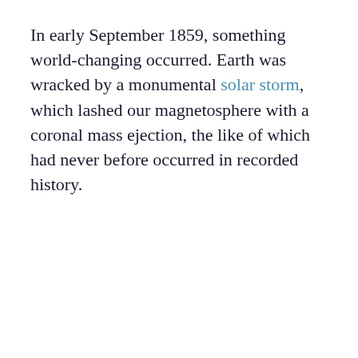In early September 1859, something world-changing occurred. Earth was wracked by a monumental solar storm, which lashed our magnetosphere with a coronal mass ejection, the like of which had never before occurred in recorded history.